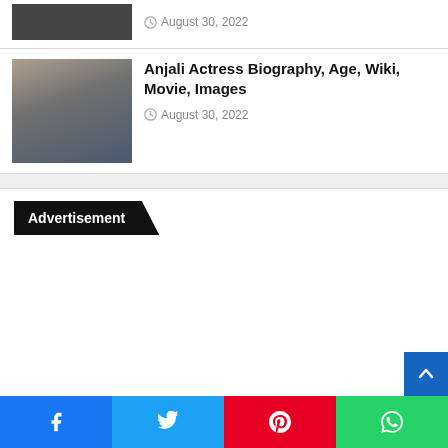[Figure (photo): Partial thumbnail of actress in black outfit at top of page]
August 30, 2022
[Figure (photo): Photo of Anjali actress in blue sleeveless top]
Anjali Actress Biography, Age, Wiki, Movie, Images
August 30, 2022
Advertisement
[Figure (screenshot): Scroll-to-top button in blue]
[Figure (infographic): Social share bar with Facebook, Twitter, Pinterest, WhatsApp buttons]